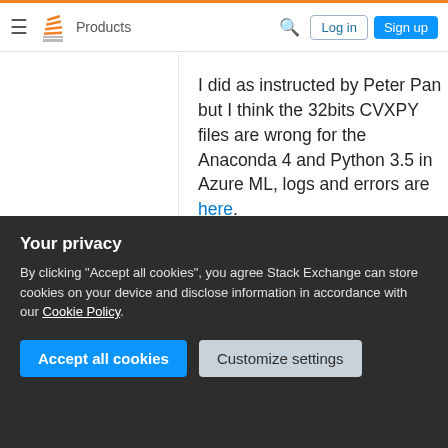Stack Exchange — Products | Log in | Sign up
I did as instructed by Peter Pan but I think the 32bits CVXPY files are wrong for the Anaconda 4 and Python 3.5 in Azure ML, logs and errors are here.
[Figure (screenshot): Code block showing: [Information]    Running with P]
[Figure (screenshot): Partial screenshot of log output showing ModuleOutput Protocol lines with [Information] entries about Python, FileNotFoundError, sklearner, binaryIO, and other log messages]
Your privacy
By clicking "Accept all cookies", you agree Stack Exchange can store cookies on your device and disclose information in accordance with our Cookie Policy.
Accept all cookies   Customize settings